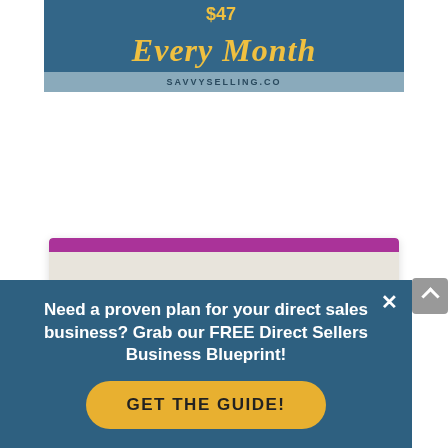[Figure (illustration): Top banner with 'Every Month' script text in gold on dark teal background, with SAVVYSELLING.CO text on lighter blue bar below]
[Figure (illustration): Notebook/planner with purple top bar and beige body, showing fanned-out cards labeled with numbers 1-4 including 'DIRECT SELLERS' card in teal at bottom]
Need a proven plan for your direct sales business? Grab our FREE Direct Sellers Business Blueprint!
GET THE GUIDE!